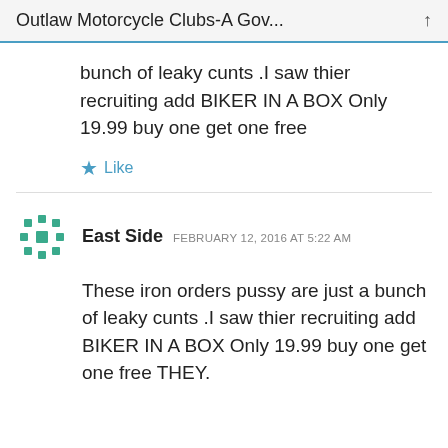Outlaw Motorcycle Clubs-A Gov...
bunch of leaky cunts .I saw thier recruiting add BIKER IN A BOX Only 19.99 buy one get one free
★ Like
East Side  FEBRUARY 12, 2016 AT 5:22 AM
These iron orders pussy are just a bunch of leaky cunts .I saw thier recruiting add BIKER IN A BOX Only 19.99 buy one get one free THEY.